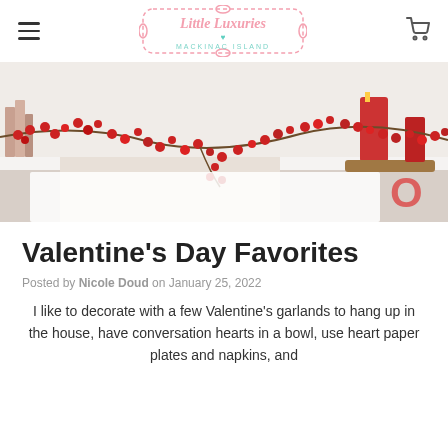Little Luxuries Mackinac Island
[Figure (photo): Valentine's Day mantel decoration with red berry garland, red candles, books, and XOXO letters on a white fireplace mantel]
Valentine's Day Favorites
Posted by Nicole Doud on January 25, 2022
I like to decorate with a few Valentine's garlands to hang up in the house, have conversation hearts in a bowl, use heart paper plates and napkins, and